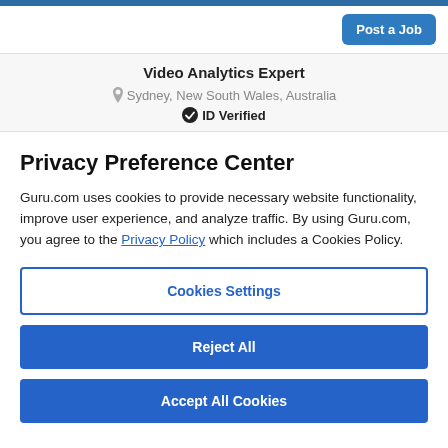[Figure (logo): Guru.com logo with stylized figure icon and 'guru' text in dark color]
Post a Job
Video Analytics Expert
Sydney, New South Wales, Australia
ID Verified
Privacy Preference Center
Guru.com uses cookies to provide necessary website functionality, improve user experience, and analyze traffic. By using Guru.com, you agree to the Privacy Policy which includes a Cookies Policy.
Cookies Settings
Reject All
Accept All Cookies